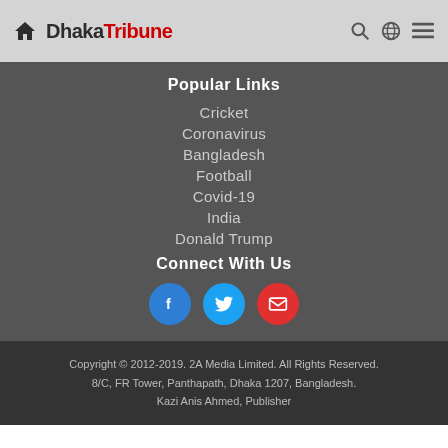Dhaka Tribune
Popular Links
Cricket
Coronavirus
Bangladesh
Football
Covid-19
India
Donald Trump
Connect With Us
[Figure (other): Social media icons: Facebook (blue circle with f), Twitter (cyan circle with bird), Email (red circle with envelope)]
Copyright © 2012-2019. 2A Media Limited. All Rights Reserved. 8/C, FR Tower, Panthapath, Dhaka 1207, Bangladesh. Kazi Anis Ahmed, Publisher